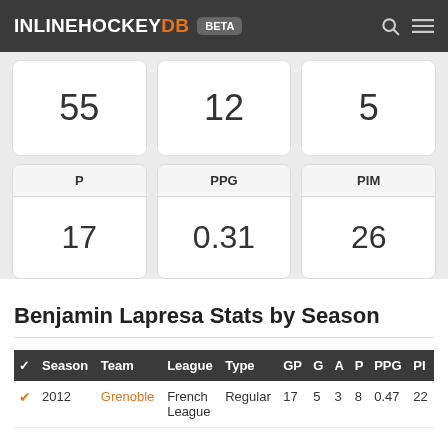INLINEHOCKEYDB BETA
| 55 |
| 12 |
| 5 |
| P | PPG | PIM |
| --- | --- | --- |
| 17 | 0.31 | 26 |
Benjamin Lapresa Stats by Season
| ✓ | Season | Team | League | Type | GP | G | A | P | PPG | PI |
| --- | --- | --- | --- | --- | --- | --- | --- | --- | --- | --- |
| ✓ | 2012 | Grenoble | French League | Regular | 17 | 5 | 3 | 8 | 0.47 | 22 |